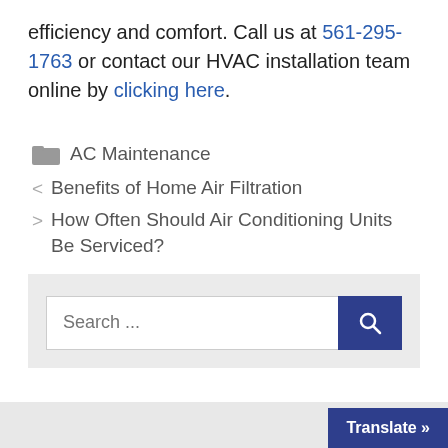efficiency and comfort. Call us at 561-295-1763 or contact our HVAC installation team online by clicking here.
AC Maintenance
< Benefits of Home Air Filtration
> How Often Should Air Conditioning Units Be Serviced?
Search ...